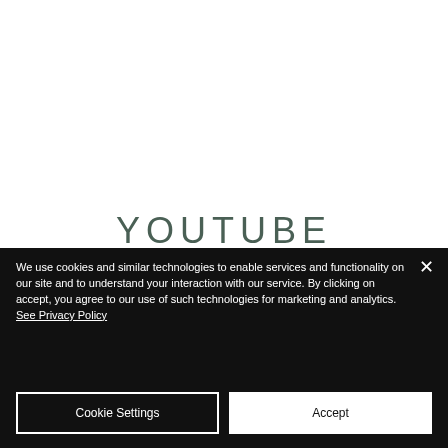[Figure (screenshot): White background area representing a webpage content area above a cookie consent dialog]
YOUTUBE
We use cookies and similar technologies to enable services and functionality on our site and to understand your interaction with our service. By clicking on accept, you agree to our use of such technologies for marketing and analytics. See Privacy Policy
Cookie Settings
Accept